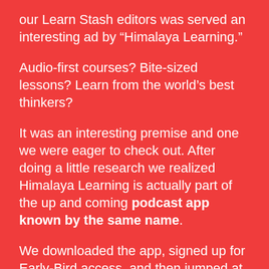our Learn Stash editors was served an interesting ad by “Himalaya Learning.”
Audio-first courses? Bite-sized lessons? Learn from the world’s best thinkers?
It was an interesting premise and one we were eager to check out. After doing a little research we realized Himalaya Learning is actually part of the up and coming podcast app known by the same name.
We downloaded the app, signed up for Early-Bird access, and then jumped at the opportunity to do a free 7-Day Trial. (Even after the trial is over it’s just $6.99 per month for a premium account.